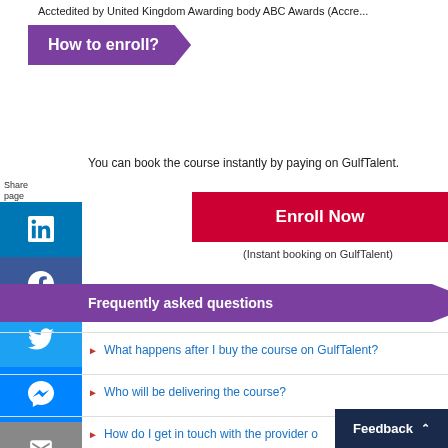Acctedited by United Kingdom Awarding body ABC Awards (Accre...
How to enroll?
You can book the course instantly by paying on GulfTalent.
Enroll Now
(Instant booking on GulfTalent)
Frequently asked questions
What happens after I buy the course on GulfTalent?
Who will be delivering the course?
How do I get in touch with the provider o... cour...